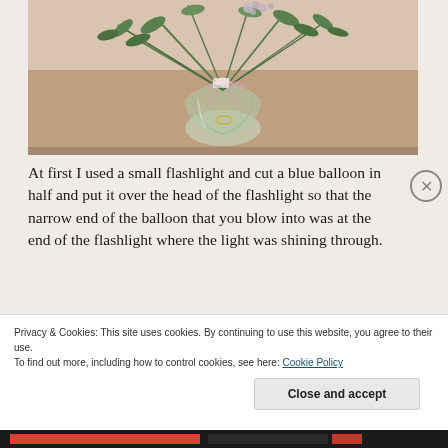[Figure (photo): A round glass vase with eucalyptus leaves and pink flowers/ribbon on a table, photographed from above at an angle.]
At first I used a small flashlight and cut a blue balloon in half and put it over the head of the flashlight so that the narrow end of the balloon that you blow into was at the end of the flashlight where the light was shining through.
Privacy & Cookies: This site uses cookies. By continuing to use this website, you agree to their use.
To find out more, including how to control cookies, see here: Cookie Policy
Close and accept